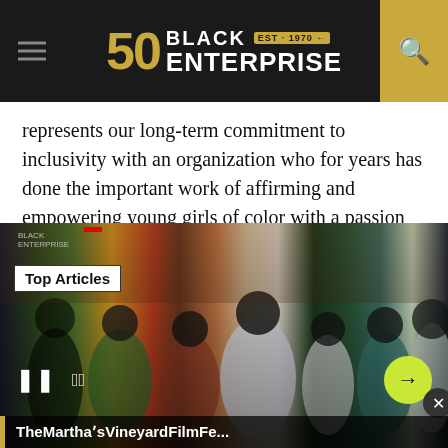Black Enterprise — EST. 1970
represents our long-term commitment to inclusivity with an organization who for years has done the important work of affirming and empowering young girls of color with a passion for innovation in technology," Lyft head of diversity and inclusion Tariq Meyers said in a statement.
[Figure (photo): Group photo of multiple people posed together at what appears to be an outdoor event, with a brick wall in the background. A 'Top Articles' badge is overlaid on the photo. Video player controls (pause, mute, arrow) appear at the bottom. A caption bar reads 'TheMarthaʼsVineyardFilmFe...']
TheMarthaʼsVineyardFilmFe...